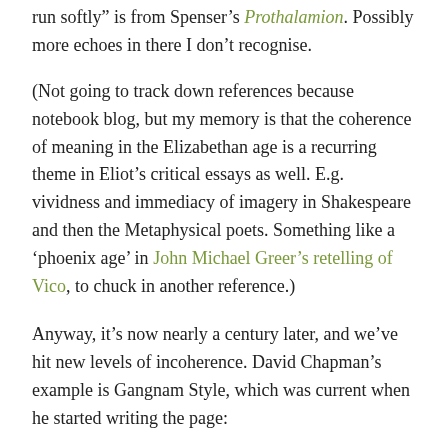run softly” is from Spenser’s Prothalamion. Possibly more echoes in there I don’t recognise.
(Not going to track down references because notebook blog, but my memory is that the coherence of meaning in the Elizabethan age is a recurring theme in Eliot’s critical essays as well. E.g. vividness and immediacy of imagery in Shakespeare and then the Metaphysical poets. Something like a ‘phoenix age’ in John Michael Greer’s retelling of Vico, to chuck in another reference.)
Anyway, it’s now nearly a century later, and we’ve hit new levels of incoherence. David Chapman’s example is Gangnam Style, which was current when he started writing the page: